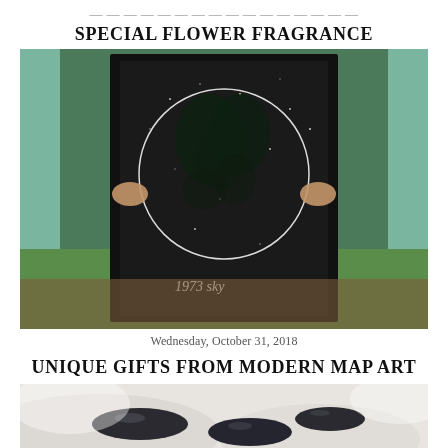SPECIAL FLOWER FRAGRANCE
[Figure (photo): Person holding a large black-framed star map print with a white circle on dark background, text '1973 Sky' at bottom, outdoors with greenery in background]
Wednesday, October 31, 2018
UNIQUE GIFTS FROM MODERN MAP ART
[Figure (photo): Close-up photo of smooth dark pebbles/stones on a white blurred background]